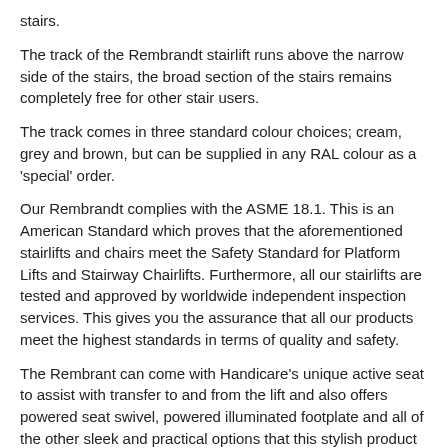stairs.
The track of the Rembrandt stairlift runs above the narrow side of the stairs, the broad section of the stairs remains completely free for other stair users.
The track comes in three standard colour choices; cream, grey and brown, but can be supplied in any RAL colour as a 'special' order.
Our Rembrandt complies with the ASME 18.1. This is an American Standard which proves that the aforementioned stairlifts and chairs meet the Safety Standard for Platform Lifts and Stairway Chairlifts. Furthermore, all our stairlifts are tested and approved by worldwide independent inspection services. This gives you the assurance that all our products meet the highest standards in terms of quality and safety.
The Rembrant can come with Handicare's unique active seat to assist with transfer to and from the lift and also offers powered seat swivel, powered illuminated footplate and all of the other sleek and practical options that this stylish product range offers.